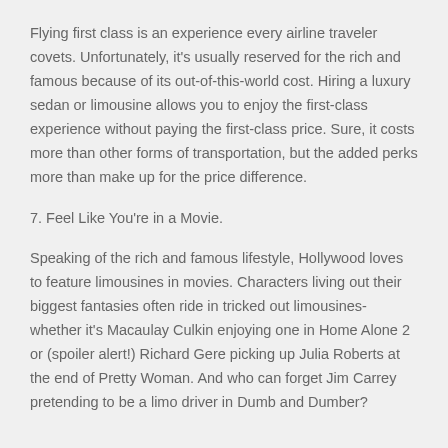Flying first class is an experience every airline traveler covets. Unfortunately, it's usually reserved for the rich and famous because of its out-of-this-world cost. Hiring a luxury sedan or limousine allows you to enjoy the first-class experience without paying the first-class price. Sure, it costs more than other forms of transportation, but the added perks more than make up for the price difference.
7. Feel Like You're in a Movie.
Speaking of the rich and famous lifestyle, Hollywood loves to feature limousines in movies. Characters living out their biggest fantasies often ride in tricked out limousines-whether it's Macaulay Culkin enjoying one in Home Alone 2 or (spoiler alert!) Richard Gere picking up Julia Roberts at the end of Pretty Woman. And who can forget Jim Carrey pretending to be a limo driver in Dumb and Dumber?